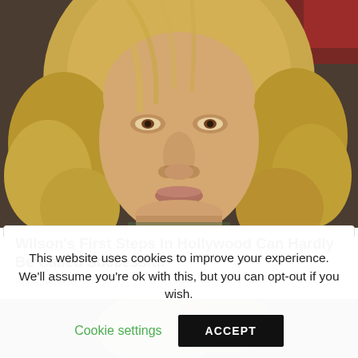[Figure (photo): Close-up photo of a person with long curly blonde hair staring at the camera, in a crowd setting with blurred background]
Wilson's First Steps In Hollywood Can Hardly Be Called Successful
Brainberries
[Figure (photo): Partial photo visible behind cookie consent overlay]
This website uses cookies to improve your experience. We'll assume you're ok with this, but you can opt-out if you wish.
Cookie settings
ACCEPT